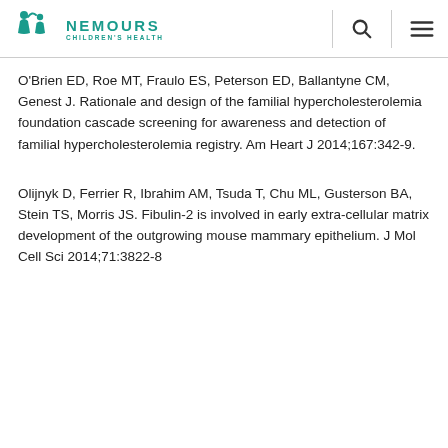Nemours Children's Health
O'Brien ED, Roe MT, Fraulo ES, Peterson ED, Ballantyne CM, Genest J. Rationale and design of the familial hypercholesterolemia foundation cascade screening for awareness and detection of familial hypercholesterolemia registry. Am Heart J 2014;167:342-9.
Olijnyk D, Ferrier R, Ibrahim AM, Tsuda T, Chu ML, Gusterson BA, Stein TS, Morris JS. Fibulin-2 is involved in early extra-cellular matrix development of the outgrowing mouse mammary epithelium. J Mol Cell Sci 2014;71:3822-8